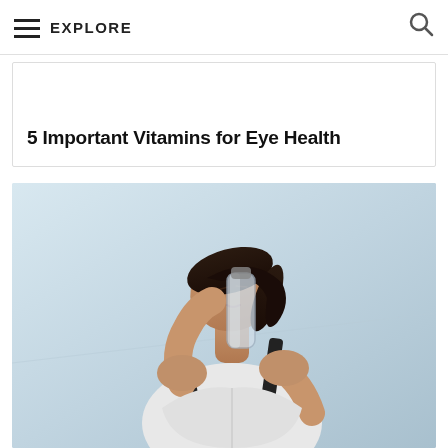EXPLORE
5 Important Vitamins for Eye Health
[Figure (photo): A woman in athletic wear (white sports bra with black straps) drinking from a clear water bottle, photographed outdoors against a light grey background, head tilted back, dark hair in ponytail.]